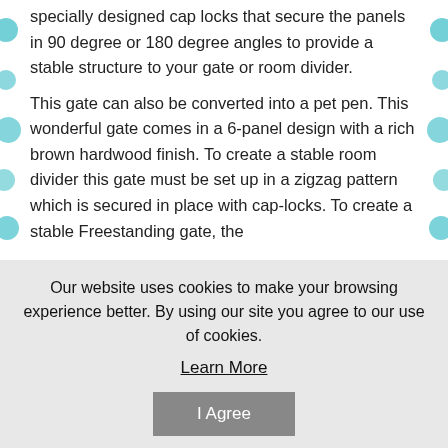specially designed cap locks that secure the panels in 90 degree or 180 degree angles to provide a stable structure to your gate or room divider. This gate can also be converted into a pet pen. This wonderful gate comes in a 6-panel design with a rich brown hardwood finish. To create a stable room divider this gate must be set up in a zigzag pattern which is secured in place with cap-locks. To create a stable Freestanding gate, the
Our website uses cookies to make your browsing experience better. By using our site you agree to our use of cookies. Learn More I Agree